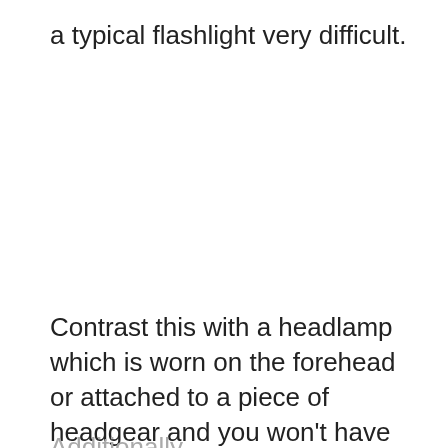a typical flashlight very difficult.
Contrast this with a headlamp which is worn on the forehead or attached to a piece of headgear and you won't have to worry about losing it after it is dropped in the snow.
Additionally, ...